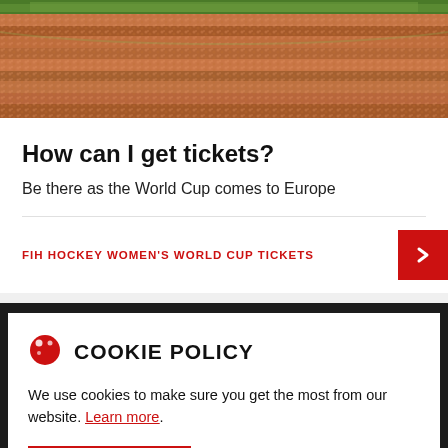[Figure (photo): Aerial view of a packed stadium with crowds of people in orange/red colors filling the stands, green pitch visible at top]
How can I get tickets?
Be there as the World Cup comes to Europe
FIH HOCKEY WOMEN'S WORLD CUP TICKETS
COOKIE POLICY
We use cookies to make sure you get the most from our website. Learn more.
ACCEPT